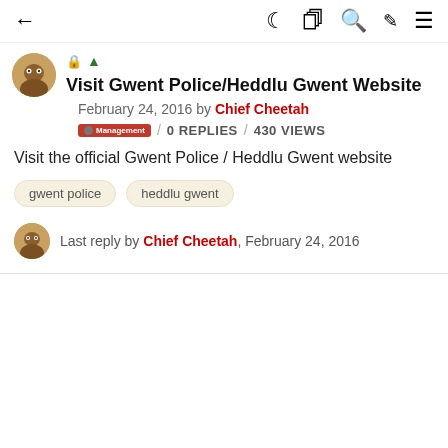← (back) (dark mode) (wiki) (search) (pen) (menu)
Visit Gwent Police/Heddlu Gwent Website
February 24, 2016 by Chief Cheetah
0 REPLIES / 430 VIEWS
Visit the official Gwent Police / Heddlu Gwent website
gwent police
heddlu gwent
Last reply by Chief Cheetah, February 24, 2016